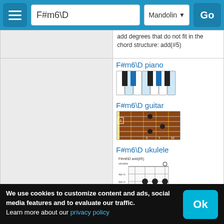F#m6\D — Mandolin — Go
add degrees that do not fit in the chord structure: add(#5)
F#m6\D on other instruments
[Figure (screenshot): F#m6\D piano chord diagram showing highlighted keys]
[Figure (screenshot): F#m6\D guitar chord diagram showing fretboard]
[Figure (screenshot): F#m6\D ukulele chord diagram showing fretboard with finger positions]
[Figure (screenshot): F#m6\D mandolin chord diagram showing fretboard with finger positions]
We use cookies to customize content and ads, social media features and to evaluate our traffic.
Learn more about our privacy policy